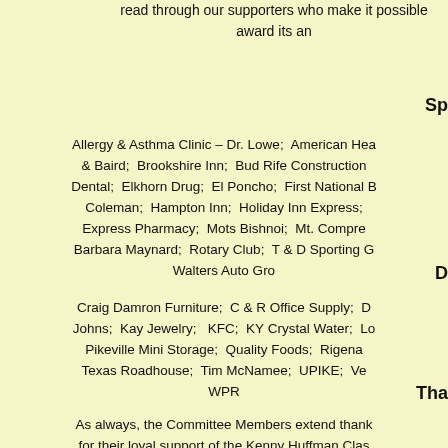read through our supporters who make it possible award its an
Sp
Allergy & Asthma Clinic – Dr. Lowe;  American Hea & Baird;  Brookshire Inn;  Bud Rife Construction Dental;  Elkhorn Drug;  El Poncho;  First National B Coleman;  Hampton Inn;  Holiday Inn Express; Express Pharmacy;  Mots Bishnoi;  Mt. Compre Barbara Maynard;  Rotary Club;  T & D Sporting G Walters Auto Gro
D
Craig Damron Furniture;  C & R Office Supply;  D Johns;  Kay Jewelry;   KFC;  KY Crystal Water;  Lo Pikeville Mini Storage;  Quality Foods;  Rigena Texas Roadhouse;  Tim McNamee;  UPIKE;  Ve WPR
Tha
As always, the Committee Members extend thank for their loyal support of the Kenny Huffman Clas